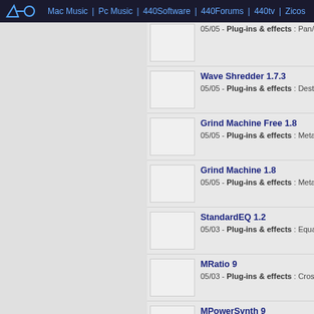440 | Mac Music | Pc Music | 440Software | 440Forums | 440tv | Zicos
05/05 - Plug-ins & effects : Pan/width
Wave Shredder 1.7.3 — 05/05 - Plug-ins & effects : Destructive
Grind Machine Free 1.8 — 05/05 - Plug-ins & effects : Metal virtu
Grind Machine 1.8 — 05/05 - Plug-ins & effects : Metal virtu
StandardEQ 1.2 — 05/03 - Plug-ins & effects : Equalizer
MRatio 9 — 05/03 - Plug-ins & effects : Crossfade
MPowerSynth 9 — 05/03 - Virtual Instruments : Synthesiz
Omnisphere 2.0 — 05/02 - Virtual Instruments : Hybrid sy
April 2015
Presswerk 1.1 — 04/30 - Plug-ins & effects : Dynamics
Saurus 2.0 — 04/30 - ...